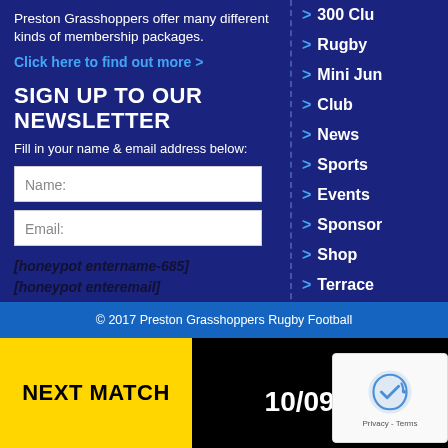Preston Grasshoppers offer many different kinds of membership packages.
Click here to find out more >
SIGN UP TO OUR NEWSLETTER
Fill in your name & email address below:
Name:
Email:
[honeypot entername-685]
[honeypot enteremail]
SUBMIT
> 300 Clu...
> Rugby
> Mini Jun...
> Club
> News
> Sports
> Events
> Sponsor...
> Shop
> Terrace
> Book 3G
> Basket
> Contact
© 2017 Preston Grasshoppers Rugby Football...
NEXT MATCH
10/09/...